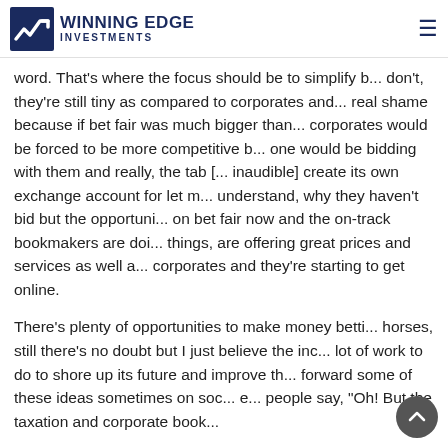WINNING EDGE INVESTMENTS
word. That's where the focus should be to simplify b... don't, they're still tiny as compared to corporates and... real shame because if bet fair was much bigger than... corporates would be forced to be more competitive b... one would be bidding with them and really, the tab [... inaudible] create its own exchange account for let m... understand, why they haven't bid but the opportuni... on bet fair now and the on-track bookmakers are doi... things, are offering great prices and services as well a... corporates and they're starting to get online.
There's plenty of opportunities to make money betti... horses, still there's no doubt but I just believe the inc... lot of work to do to shore up its future and improve th... forward some of these ideas sometimes on soc... e... people say, "Oh! But the taxation and corporate book...